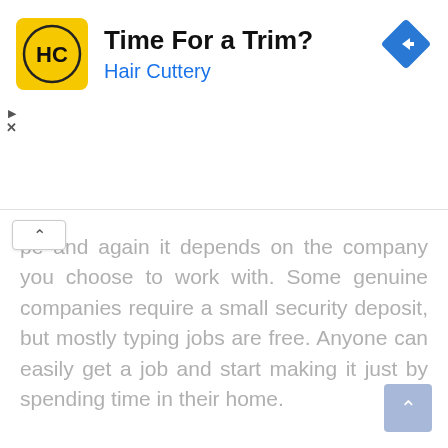[Figure (other): Hair Cuttery advertisement banner with yellow square logo containing 'HC' text, headline 'Time For a Trim?', subline 'Hair Cuttery', and a blue navigation/directions diamond icon on the right.]
pe and again it depends on the company you choose to work with. Some genuine companies require a small security deposit, but mostly typing jobs are free. Anyone can easily get a job and start making it just by spending time in their home.